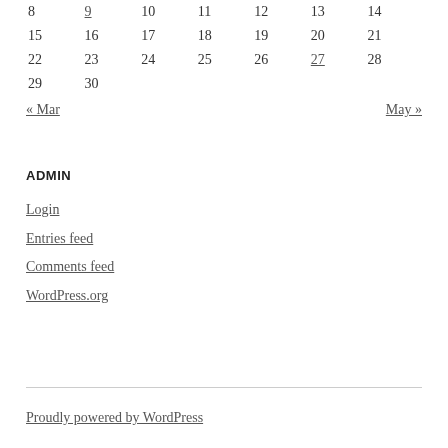| 8 | 9 | 10 | 11 | 12 | 13 | 14 |
| 15 | 16 | 17 | 18 | 19 | 20 | 21 |
| 22 | 23 | 24 | 25 | 26 | 27 | 28 |
| 29 | 30 |  |  |  |  |  |
« Mar    May »
ADMIN
Login
Entries feed
Comments feed
WordPress.org
Proudly powered by WordPress